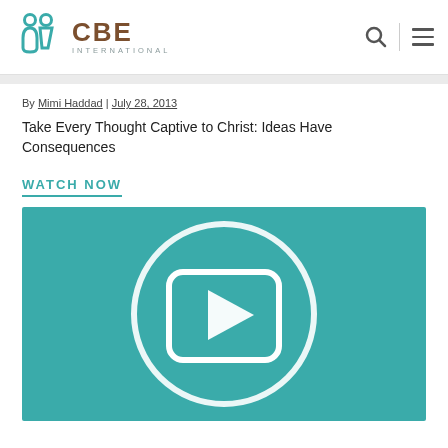CBE International
By Mimi Haddad | July 28, 2013
Take Every Thought Captive to Christ: Ideas Have Consequences
WATCH NOW
[Figure (other): Video thumbnail with teal background and white play button icon (circle with rounded-rectangle and triangle)]